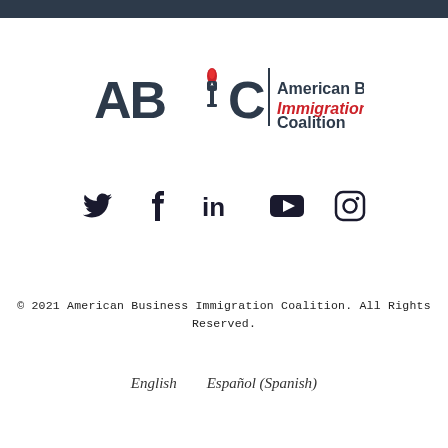[Figure (logo): American Business Immigration Coalition (ABIC) logo with torch icon and text]
[Figure (infographic): Social media icons: Twitter, Facebook, LinkedIn, YouTube, Instagram]
© 2021 American Business Immigration Coalition. All Rights Reserved.
English   Español (Spanish)